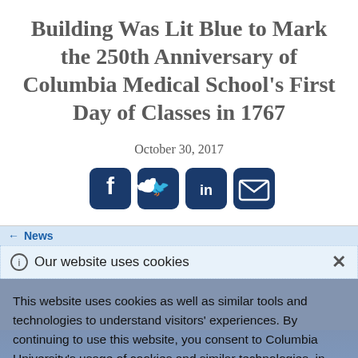Building Was Lit Blue to Mark the 250th Anniversary of Columbia Medical School's First Day of Classes in 1767
October 30, 2017
[Figure (other): Social media share buttons: Facebook, Twitter, LinkedIn, Email]
← News
ⓘ Our website uses cookies
This website uses cookies as well as similar tools and technologies to understand visitors' experiences. By continuing to use this website, you consent to Columbia University's usage of cookies and similar technologies, in accordance with the Columbia University Website Cookie Notice.